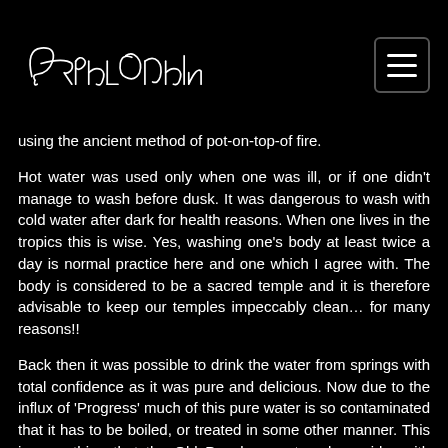Paulina Solon
using the ancient method of pot-on-top-of fire.
Hot water was used only when one was ill, or if one didn't manage to wash before dusk. It was dangerous to wash with cold water after dark for health reasons. When one lives in the tropics this is wise. Yes, washing one's body at least twice a day is normal practice here and one which I agree with. The body is considered to be a sacred temple and it is therefore advisable to keep our temples impeccably clean… for many reasons!!
Back then it was possible to drink the water from springs with total confidence as it was pure and delicious. Now due to the influx of 'Progress' much of this pure water is so contaminated that it has to be boiled, or treated in some other manner. This is something that the Old People regret and consider with both sadness and increasing alarm.
Back then there were few cars, some motor bikes, for the privileged few. Bemo's (a sort of covered mini van) were the normal mode of public transport, into which was piled anything from people, sacks